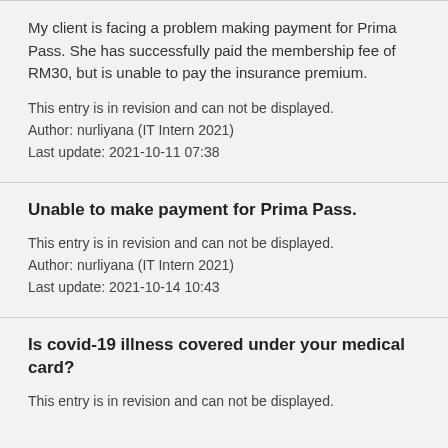My client is facing a problem making payment for Prima Pass. She has successfully paid the membership fee of RM30, but is unable to pay the insurance premium.
This entry is in revision and can not be displayed.
Author: nurliyana (IT Intern 2021)
Last update: 2021-10-11 07:38
Unable to make payment for Prima Pass.
This entry is in revision and can not be displayed.
Author: nurliyana (IT Intern 2021)
Last update: 2021-10-14 10:43
Is covid-19 illness covered under your medical card?
This entry is in revision and can not be displayed.